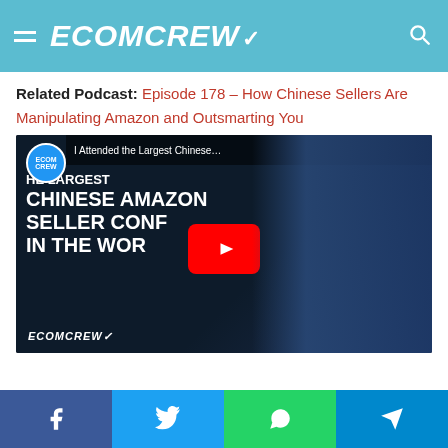ECOMCREW
Related Podcast: Episode 178 – How Chinese Sellers Are Manipulating Amazon and Outsmarting You
[Figure (screenshot): YouTube video thumbnail showing a man at the Largest Chinese Amazon Seller Conference in the World, with EcomCrew branding and a YouTube play button overlay.]
Share buttons: Facebook, Twitter, WhatsApp, Telegram